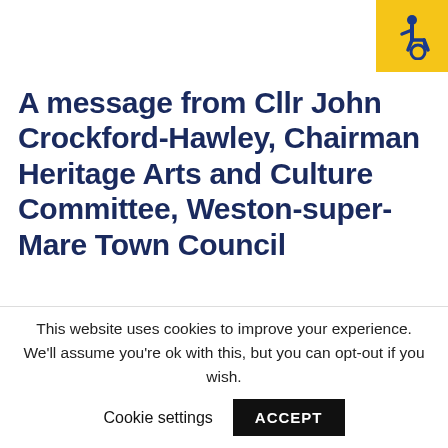[Figure (logo): Wheelchair accessibility icon in blue on yellow background, top right corner]
A message from Cllr John Crockford-Hawley, Chairman Heritage Arts and Culture Committee, Weston-super-Mare Town Council
[Figure (photo): Photo of an elderly person with white hair outdoors with hills and landscape in background, partially visible]
We are living in
This website uses cookies to improve your experience. We'll assume you're ok with this, but you can opt-out if you wish.
Cookie settings   ACCEPT